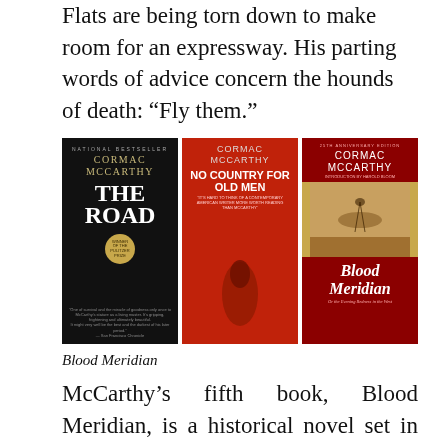Flats are being torn down to make room for an expressway. His parting words of advice concern the hounds of death: “Fly them.”
[Figure (illustration): Three book covers by Cormac McCarthy: 'The Road' (black cover, national bestseller, Pulitzer Prize winner), 'No Country for Old Men' (red cover), and 'Blood Meridian' (dark red cover, 25th anniversary edition)]
Blood Meridian
McCarthy’s fifth book, Blood Meridian, is a historical novel set in the American Southwest and northern Mexico around the middle of the nineteenth century. The